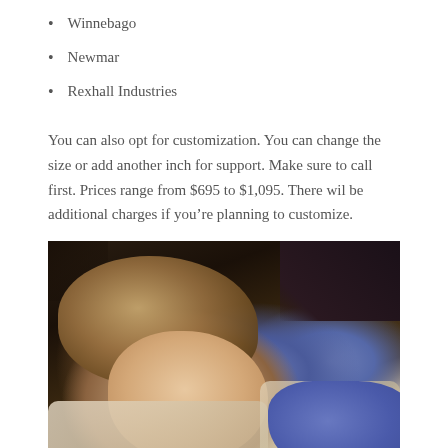Winnebago
Newmar
Rexhall Industries
You can also opt for customization. You can change the size or add another inch for support. Make sure to call first. Prices range from $695 to $1,095. There wil be additional charges if you’re planning to customize.
[Figure (photo): A young child sleeping peacefully on a bed, wearing a blue/purple long-sleeve shirt, with long hair spread out, resting on a patterned blanket.]